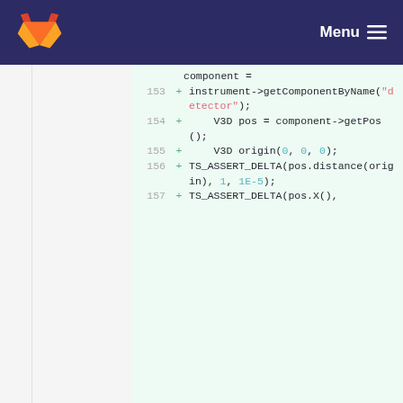GitLab | Menu
[Figure (screenshot): Code diff view showing lines 153-157 of a C++ source file with added lines (green background). Line 153: component = instrument->getComponentByName("detector"); Line 154: V3D pos = component->getPos(); Line 155: V3D origin(0, 0, 0); Line 156: TS_ASSERT_DELTA(pos.distance(origin), 1, 1E-5); Line 157: TS_ASSERT_DELTA(pos.X(),]